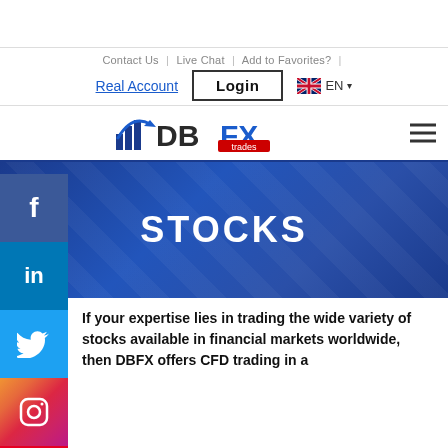Contact Us | Live Chat | Add to Favorites? |
Real Account  Login  EN
[Figure (logo): DBFX trades logo with bar chart icon]
STOCKS
If your expertise lies in trading the wide variety of stocks available in financial markets worldwide, then DBFX offers CFD trading in a